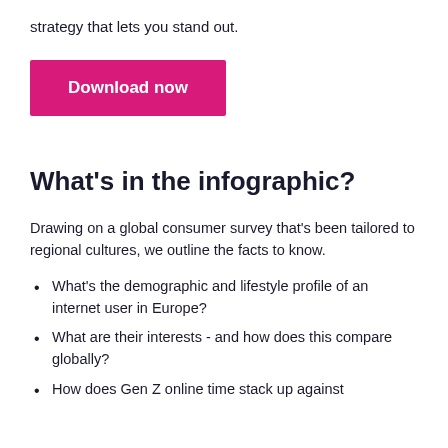strategy that lets you stand out.
Download now
What's in the infographic?
Drawing on a global consumer survey that's been tailored to regional cultures, we outline the facts to know.
What's the demographic and lifestyle profile of an internet user in Europe?
What are their interests - and how does this compare globally?
How does Gen Z online time stack up against